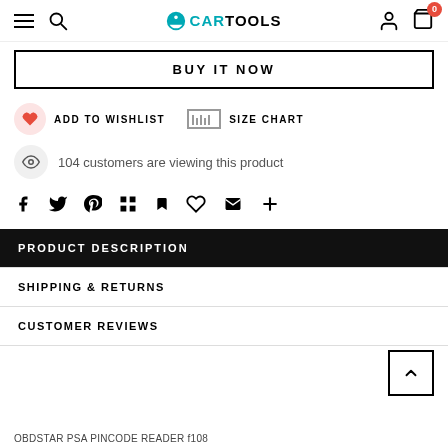CARTOOLS navigation header with hamburger menu, search, logo, user, cart (0)
BUY IT NOW
ADD TO WISHLIST   SIZE CHART
104 customers are viewing this product
[Figure (infographic): Social sharing icons: Facebook, Twitter, Pinterest, Grid/apps, Bookmark, Heart/Fancy, Email/envelope, Plus]
PRODUCT DESCRIPTION
SHIPPING & RETURNS
CUSTOMER REVIEWS
OBDSTAR PSA PINCODE READER f108